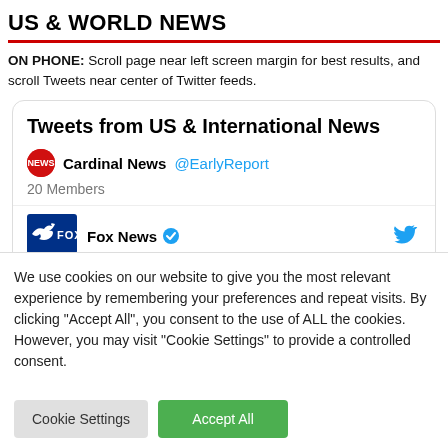US & WORLD NEWS
ON PHONE: Scroll page near left screen margin for best results, and scroll Tweets near center of Twitter feeds.
[Figure (screenshot): Twitter list card showing 'Tweets from US & International News' with Cardinal News @EarlyReport account and 20 Members. Below is a Fox News tweet entry with Fox News logo and verified badge and Twitter bird icon.]
We use cookies on our website to give you the most relevant experience by remembering your preferences and repeat visits. By clicking "Accept All", you consent to the use of ALL the cookies. However, you may visit "Cookie Settings" to provide a controlled consent.